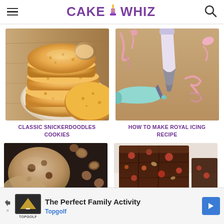CAKE WHIZ
[Figure (photo): Stack of golden snickerdoodle cookies on a plate, top cookie has a bite taken out]
CLASSIC SNICKERDOODLES COOKIES
[Figure (photo): Piping bags with royal icing on a brown craft paper background, showing pink and teal frosting]
HOW TO MAKE ROYAL ICING RECIPE
[Figure (photo): Chocolate chip hazelnut cookies with hazelnuts scattered around on dark background]
[Figure (photo): Dark chocolate bark with toppings on white surface]
The Perfect Family Activity Topgolf